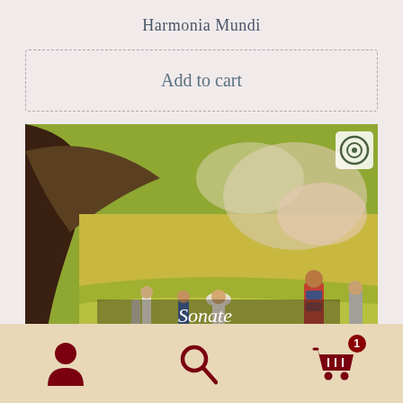Harmonia Mundi
Add to cart
[Figure (photo): Album cover for 'Sonate pour piano et violon' by César Franck and Ernest Chausson, published on Harmonia Mundi. The cover artwork shows a Post-Impressionist painting with figures in a green landscape. Text on cover reads: Sonate pour piano et violon, CÉSAR FRANCK, ERNEST CHAUSSON, Concert. Harmonia Mundi logo in top right corner.]
Navigation bar with user icon, search icon, and shopping cart icon with badge showing 1 item